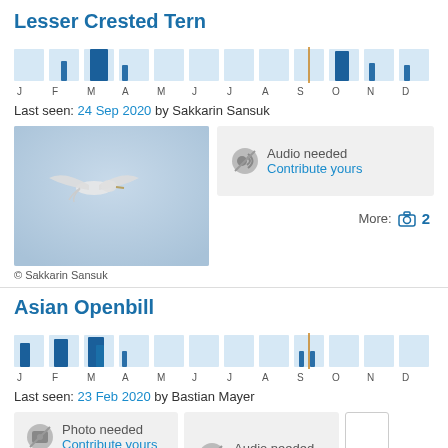Lesser Crested Tern
[Figure (bar-chart): Monthly sighting frequency - Lesser Crested Tern]
Last seen: 24 Sep 2020 by Sakkarin Sansuk
[Figure (photo): Photo of Lesser Crested Tern in flight against blue sky]
© Sakkarin Sansuk
[Figure (other): Audio needed - Contribute yours]
More: 📷 2
Asian Openbill
[Figure (bar-chart): Monthly sighting frequency - Asian Openbill]
Last seen: 23 Feb 2020 by Bastian Mayer
[Figure (other): Photo needed - Contribute yours]
[Figure (other): Audio needed - Contribute yours]